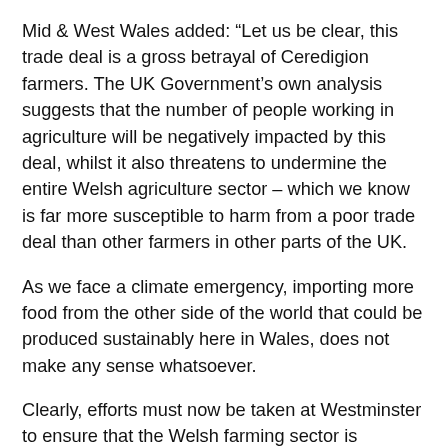Mid & West Wales added: “Let us be clear, this trade deal is a gross betrayal of Ceredigion farmers. The UK Government’s own analysis suggests that the number of people working in agriculture will be negatively impacted by this deal, whilst it also threatens to undermine the entire Welsh agriculture sector – which we know is far more susceptible to harm from a poor trade deal than other farmers in other parts of the UK.
As we face a climate emergency, importing more food from the other side of the world that could be produced sustainably here in Wales, does not make any sense whatsoever.
Clearly, efforts must now be taken at Westminster to ensure that the Welsh farming sector is safeguarded from the potential negative impact of this agreement.”